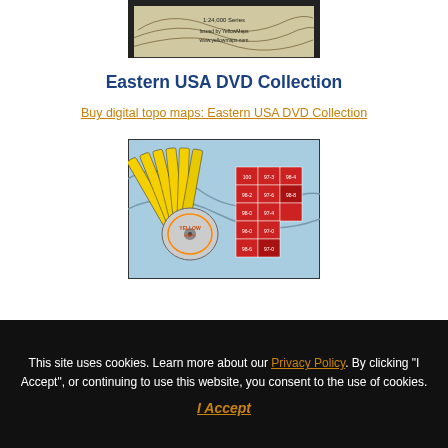[Figure (illustration): Top portion of a topographic map image from YellowMaps, 1:24,000 series]
Eastern USA DVD Collection
Buy digital topo maps: Eastern USA DVD Collection
[Figure (photo): Photo of DVD collection set with yellow disc cases fanned out and a map showing Eastern USA grid regions highlighted in red]
This site uses cookies. Learn more about our Privacy Policy. By clicking "I Accept", or continuing to use this website, you consent to the use of cookies.
I Accept